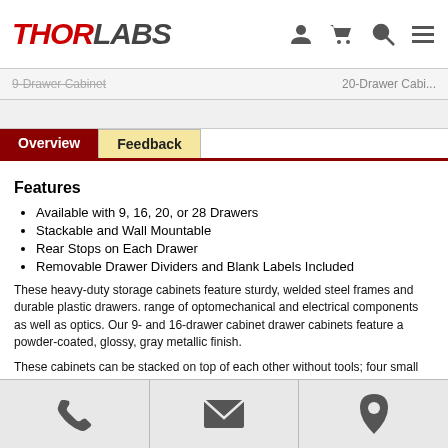THORLABS
9-Drawer Cabinet   20-Drawer Cabi...
Overview   Feedback
Features
Available with 9, 16, 20, or 28 Drawers
Stackable and Wall Mountable
Rear Stops on Each Drawer
Removable Drawer Dividers and Blank Labels Included
These heavy-duty storage cabinets feature sturdy, welded steel frames and durable plastic drawers. range of optomechanical and electrical components as well as optics. Our 9- and 16-drawer cabinet drawer cabinets feature a powder-coated, glossy, gray metallic finish.
These cabinets can be stacked on top of each other without tools; four small feet on the bottom of e The cabinets can be mounted directly to a laboratory wall via four rear slots (see photo to the right) of 7 cabinets can be mounted on RK4101 shelves within the rack. In addition, our 19" rack chassis
| Item # | Number of Drawers | Number of Included Dividers | Drawer Length |
| --- | --- | --- | --- |